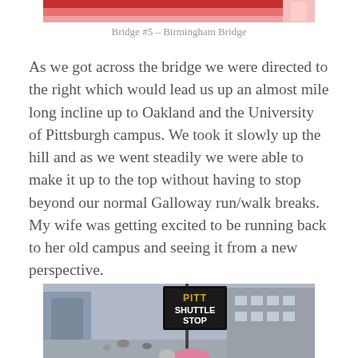[Figure (photo): Partial top of a photo showing red and pink colors, cropped at top of page]
Bridge #5 – Birmingham Bridge
As we got across the bridge we were directed to the right which would lead us up an almost mile long incline up to Oakland and the University of Pittsburgh campus. We took it slowly up the hill and as we went steadily we were able to make it up to the top without having to stop beyond our normal Galloway run/walk breaks. My wife was getting excited to be running back to her old campus and seeing it from a new perspective.
[Figure (photo): Street scene with a Pitt Shuttle Stop sign in the foreground, buildings and pedestrians in background]